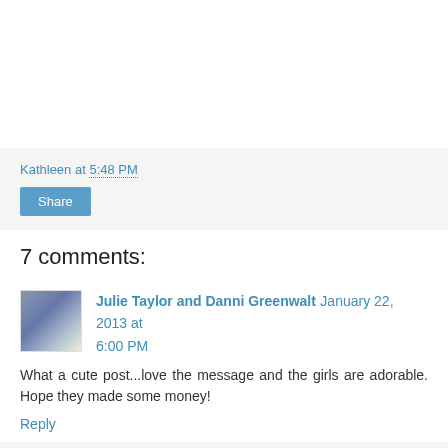Kathleen at 5:48 PM
Share
7 comments:
Julie Taylor and Danni Greenwalt January 22, 2013 at 6:00 PM
What a cute post...love the message and the girls are adorable. Hope they made some money!
Reply
Replies